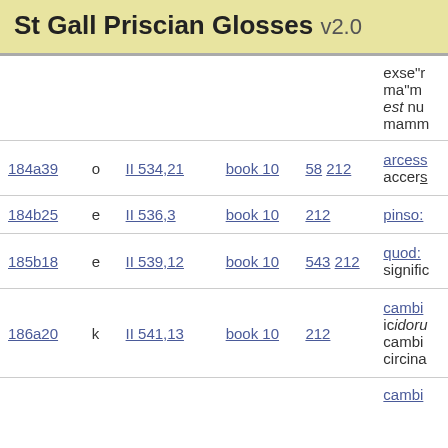St Gall Priscian Glosses v2.0
| ref | type | location | book | pages | gloss |
| --- | --- | --- | --- | --- | --- |
|  |  |  |  |  | exse"r... ma"m... est nu... mamm... |
| 184a39 | o | II 534,21 | book 10 | 58 212 | arcess... accers... |
| 184b25 | e | II 536,3 | book 10 | 212 | pinso:... |
| 185b18 | e | II 539,12 | book 10 | 543 212 | quod:... signific... |
| 186a20 | k | II 541,13 | book 10 | 212 | cambi... ic idoru... cambi... circina... |
|  |  |  |  |  | cambi... |